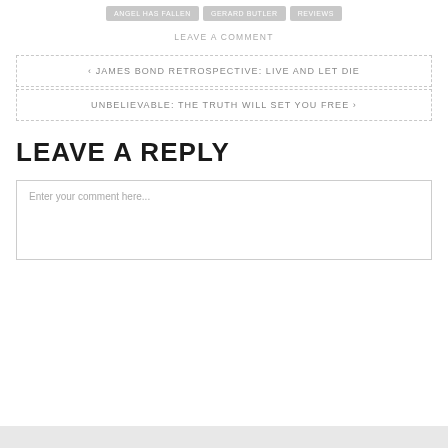ANGEL HAS FALLEN
GERARD BUTLER
REVIEWS
LEAVE A COMMENT
‹ JAMES BOND RETROSPECTIVE: LIVE AND LET DIE
UNBELIEVABLE: THE TRUTH WILL SET YOU FREE ›
LEAVE A REPLY
Enter your comment here...